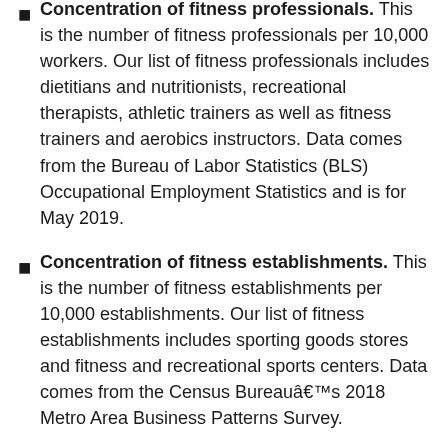Concentration of fitness professionals. This is the number of fitness professionals per 10,000 workers. Our list of fitness professionals includes dietitians and nutritionists, recreational therapists, athletic trainers as well as fitness trainers and aerobics instructors. Data comes from the Bureau of Labor Statistics (BLS) Occupational Employment Statistics and is for May 2019.
Concentration of fitness establishments. This is the number of fitness establishments per 10,000 establishments. Our list of fitness establishments includes sporting goods stores and fitness and recreational sports centers. Data comes from the Census Bureauâs 2018 Metro Area Business Patterns Survey.
Concentration of fast-food restaurants. This